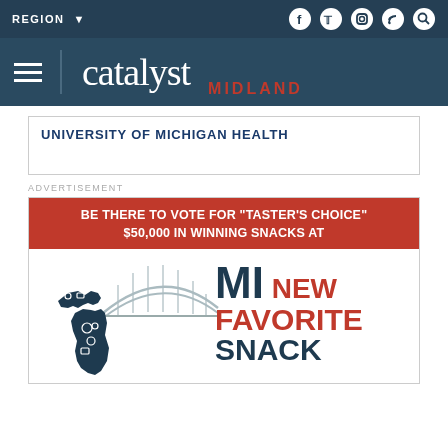REGION | [social icons: facebook, twitter, instagram, rss, search]
[Figure (logo): Catalyst Midland logo with hamburger menu on dark navy background]
[Figure (other): University of Michigan Health advertisement banner]
ADVERTISEMENT
[Figure (infographic): MI New Favorite Snack advertisement — 'BE THERE TO VOTE FOR TASTER'S CHOICE $50,000 IN WINNING SNACKS AT' with Michigan state shape illustration and bridge graphic, text reads MI NEW FAVORITE SNACK]